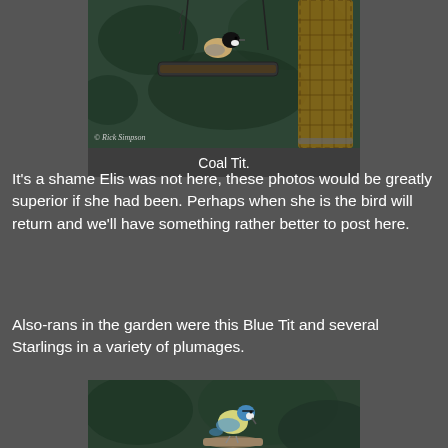[Figure (photo): A Coal Tit bird perched on a hanging bird feeder with a seed feeder visible on the right. Photo credit: © Rick Simpson.]
Coal Tit.
It's a shame Elis was not here, these photos would be greatly superior if she had been. Perhaps when she is the bird will return and we'll have something rather better to post here.
Also-rans in the garden were this Blue Tit and several Starlings in a variety of plumages.
[Figure (photo): A Blue Tit bird perched, viewed from the side.]